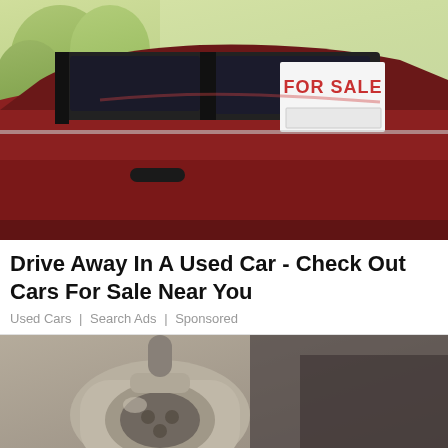[Figure (photo): A red used car with a white 'FOR SALE' sign in the rear window, photographed in a parking lot with green trees in the background]
Drive Away In A Used Car - Check Out Cars For Sale Near You
Used Cars | Search Ads | Sponsored
[Figure (photo): Close-up photo of a car charging port/plug, appears to be an electric vehicle charger connector in grey/beige color]